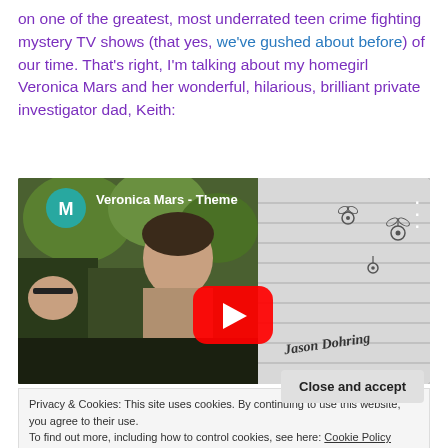on one of the greatest, most underrated teen crime fighting mystery TV shows (that yes, we've gushed about before) of our time. That's right, I'm talking about my homegirl Veronica Mars and her wonderful, hilarious, brilliant private investigator dad, Keith:
[Figure (screenshot): Embedded YouTube video thumbnail for 'Veronica Mars - Theme' showing a young man in a group outdoors on the left, and a notebook with drawn flowers and 'Jason Dohring' signature on the right. A teal circle channel icon with 'M' is in top-left, red YouTube play button in center.]
Privacy & Cookies: This site uses cookies. By continuing to use this website, you agree to their use.
To find out more, including how to control cookies, see here: Cookie Policy
[Figure (screenshot): Partial bottom strip showing another YouTube video 'Veronica Mars: Who's Your Daddy?' with a green channel icon.]